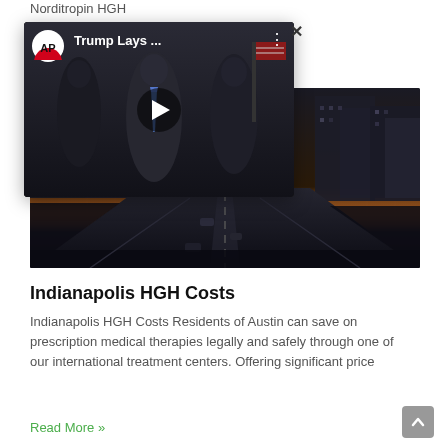Norditropin HGH
[Figure (screenshot): AP video popup overlay showing 'Trump Lays ...' video title with AP logo, play button, and close X button. Dark background with silhouette figures.]
[Figure (photo): Dark cityscape photo showing a street perspective with tall buildings on both sides, orange sunset glow in the distance, cars on the road. Moody nighttime urban scene.]
Indianapolis HGH Costs
Indianapolis HGH Costs Residents of Austin can save on prescription medical therapies legally and safely through one of our international treatment centers. Offering significant price
Read More »